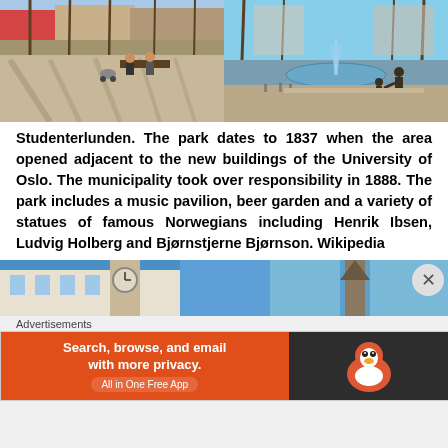[Figure (photo): Two park photos side by side: left shows people sitting on benches in a sunny park with tree shadows on pavement; right shows a fountain and statues in a park on a sunny day]
Studenterlunden. The park dates to 1837 when the area opened adjacent to the new buildings of the University of Oslo. The municipality took over responsibility in 1888. The park includes a music pavilion, beer garden and a variety of statues of famous Norwegians including Henrik Ibsen, Ludvig Holberg and Bjørnstjerne Bjørnson. Wikipedia
[Figure (photo): Two partial photos at bottom: left shows building with clock tower against blue sky, right shows another tower or steeple against blue sky]
Advertisements
[Figure (screenshot): DuckDuckGo advertisement banner: orange left side with text 'Search, browse, and email with more privacy. All in One Free App', dark right side with DuckDuckGo duck logo]